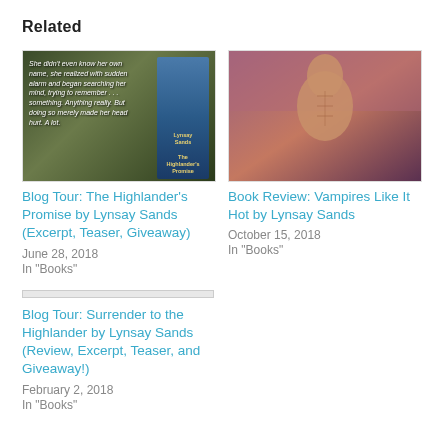Related
[Figure (photo): Book cover image for The Highlander's Promise by Lynsay Sands with text overlay]
Blog Tour: The Highlander's Promise by Lynsay Sands (Excerpt, Teaser, Giveaway)
June 28, 2018
In "Books"
[Figure (photo): Book cover/promotional image for Vampires Like It Hot by Lynsay Sands showing a shirtless man with Avon Books logo]
Book Review: Vampires Like It Hot by Lynsay Sands
October 15, 2018
In "Books"
[Figure (photo): Placeholder image for Blog Tour: Surrender to the Highlander]
Blog Tour: Surrender to the Highlander by Lynsay Sands (Review, Excerpt, Teaser, and Giveaway!)
February 2, 2018
In "Books"